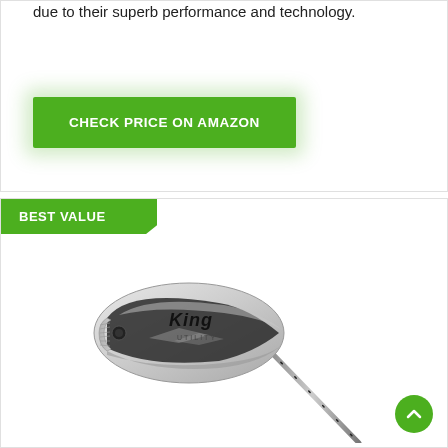due to their superb performance and technology.
CHECK PRICE ON AMAZON
BEST VALUE
[Figure (photo): Cobra King Utility iron golf club, silver/chrome finish with black accents, shown at an angle with shaft extending to lower right. The club head shows 'KING UTILITY' branding.]